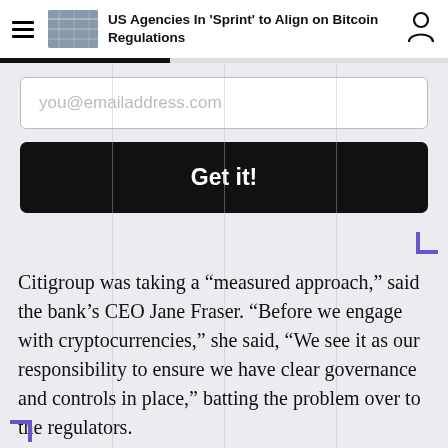US Agencies In 'Sprint' to Align on Bitcoin Regulations
you@emailaddress.com
Get it!
Citigroup was taking a “measured approach,” said the bank’s CEO Jane Fraser. “Before we engage with cryptocurrencies,” she said, “We see it as our responsibility to ensure we have clear governance and controls in place,” batting the problem over to the regulators.